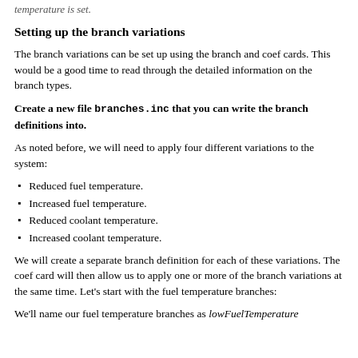temperature is set.
Setting up the branch variations
The branch variations can be set up using the branch and coef cards. This would be a good time to read through the detailed information on the branch types.
Create a new file branches.inc that you can write the branch definitions into.
As noted before, we will need to apply four different variations to the system:
Reduced fuel temperature.
Increased fuel temperature.
Reduced coolant temperature.
Increased coolant temperature.
We will create a separate branch definition for each of these variations. The coef card will then allow us to apply one or more of the branch variations at the same time. Let's start with the fuel temperature branches:
We'll name our fuel temperature branches as lowFuelTemperature